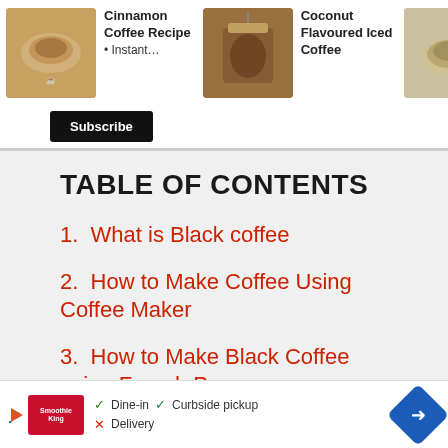[Figure (screenshot): Recipe card thumbnails showing Cinnamon Coffee Recipe, Coconut Flavoured Iced Coffee, and Caramel Coffee Recipe with food photos]
Cinnamon Coffee Recipe • Instant…
Coconut Flavoured Iced Coffee
Caramel Coffee Recipe • Hot Insta…
Subscribe
TABLE OF CONTENTS
1.  What is Black coffee
2.  How to Make Coffee Using Coffee Maker
3.  How to Make Black Coffee using French Press
4.  How to Make Black Coffee Using
1,840
[Figure (screenshot): Bottom advertisement bar for Smoothie King showing dine-in, curbside pickup, delivery options with navigation arrow]